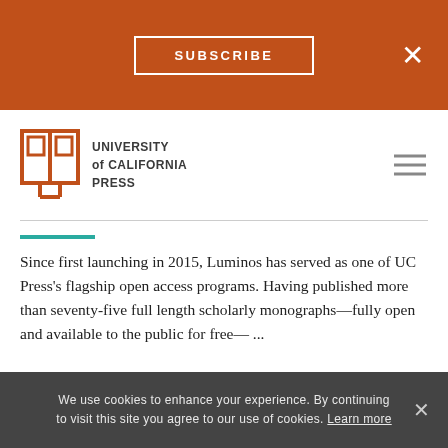SUBSCRIBE
[Figure (logo): University of California Press logo with open book icon and text UNIVERSITY of CALIFORNIA PRESS]
Since first launching in 2015, Luminos has served as one of UC Press's flagship open access programs. Having published more than seventy-five full length scholarly monographs—fully open and available to the public for free— ...
READ MORE >
About the Author
We use cookies to enhance your experience. By continuing to visit this site you agree to our use of cookies. Learn more